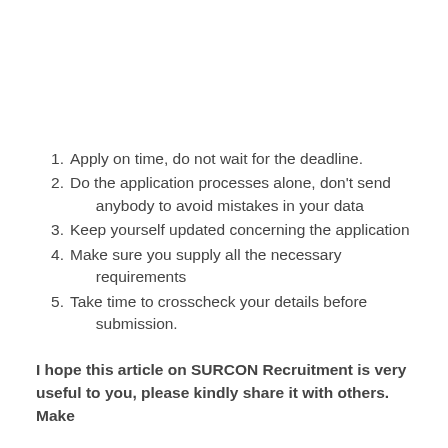Apply on time, do not wait for the deadline.
Do the application processes alone, don't send anybody to avoid mistakes in your data
Keep yourself updated concerning the application
Make sure you supply all the necessary requirements
Take time to crosscheck your details before submission.
I hope this article on SURCON Recruitment is very useful to you, please kindly share it with others. Make